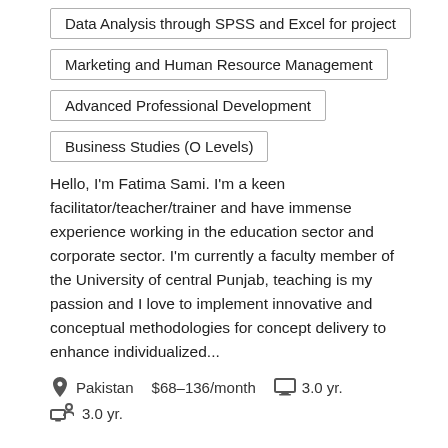Data Analysis through SPSS and Excel for project
Marketing and Human Resource Management
Advanced Professional Development
Business Studies (O Levels)
Hello, I'm Fatima Sami. I'm a keen facilitator/teacher/trainer and have immense experience working in the education sector and corporate sector. I'm currently a faculty member of the University of central Punjab, teaching is my passion and I love to implement innovative and conceptual methodologies for concept delivery to enhance individualized...
Pakistan  $68–136/month  3.0 yr.  3.0 yr.